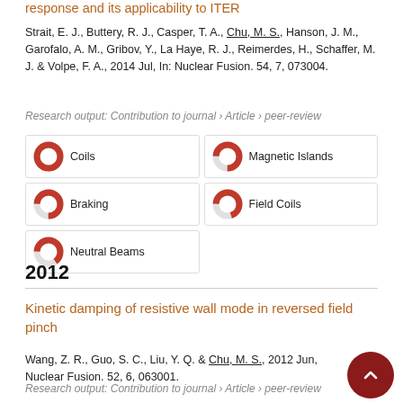Strait, E. J., Buttery, R. J., Casper, T. A., Chu, M. S., Hanson, J. M., Garofalo, A. M., Gribov, Y., La Haye, R. J., Reimerdes, H., Schaffer, M. J. & Volpe, F. A., 2014 Jul, In: Nuclear Fusion. 54, 7, 073004.
Research output: Contribution to journal › Article › peer-review
[Figure (infographic): Keyword badges with donut icons: Coils (100%), Magnetic Islands (75%), Braking (75%), Field Coils (70%), Neutral Beams (65%)]
2012
Kinetic damping of resistive wall mode in reversed field pinch
Wang, Z. R., Guo, S. C., Liu, Y. Q. & Chu, M. S., 2012 Jun, Nuclear Fusion. 52, 6, 063001.
Research output: Contribution to journal › Article › peer-review